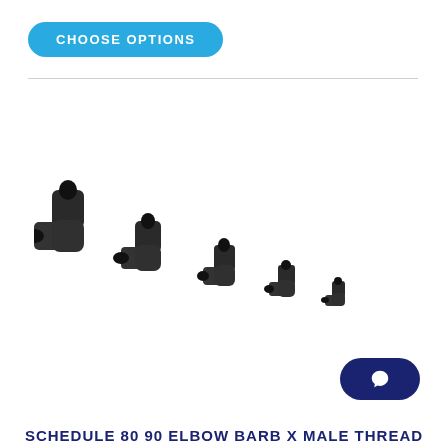CHOOSE OPTIONS
[Figure (photo): Six black plastic elbow fittings (barb x male thread) arranged in a diagonal descending line from large to small against a white background.]
SCHEDULE 80 90 ELBOW BARB X MALE THREAD